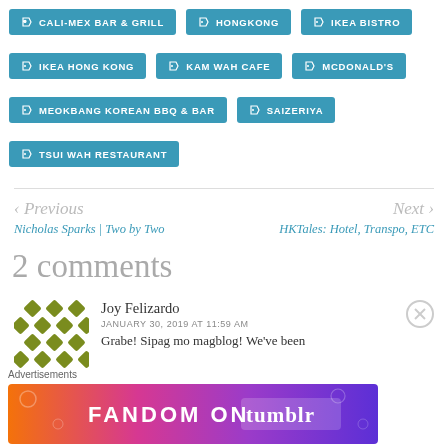CALI-MEX BAR & GRILL
HONGKONG
IKEA BISTRO
IKEA HONG KONG
KAM WAH CAFE
MCDONALD'S
MEOKBANG KOREAN BBQ & BAR
SAIZERIYA
TSUI WAH RESTAURANT
< Previous
Nicholas Sparks | Two by Two
Next >
HKTales: Hotel, Transpo, ETC
2 comments
Joy Felizardo
JANUARY 30, 2019 AT 11:59 AM
Grabe! Sipag mo magblog! We've been
Advertisements
[Figure (infographic): Fandom on Tumblr colorful banner advertisement with orange, pink, and purple gradient background]